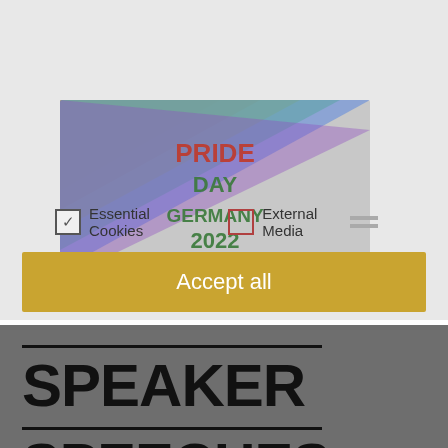them are essential, while others help us to improve this website and your experience. Personal data may be processed (e.g. IP addresses), e.g. for personalised ads and content or ad and content measurement. For more information about how we use your data, please see our privacy statement. You can revoke or adjust your selection at any time under settings.
[Figure (other): Cookie consent dialog with checkboxes for Essential Cookies (checked) and External Media (unchecked with hamburger menu icon), overlaid on a Pride Day Germany 2022 / PROUT AT WORK logo image]
Accept all
SPEAKER
SPEECHES